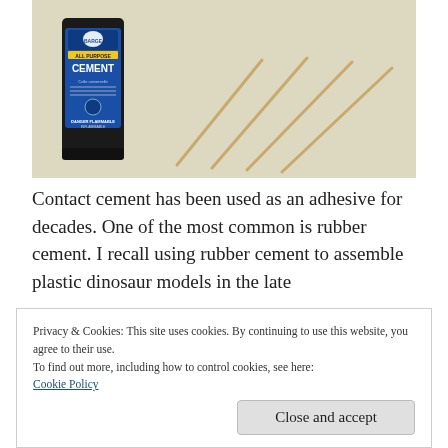[Figure (photo): Photo of a tube of Barge All Purpose Cement (blue label) and several wooden toothpicks or stir sticks on a light beige background]
Contact cement has been used as an adhesive for decades. One of the most common is rubber cement. I recall using rubber cement to assemble plastic dinosaur models in the late
Privacy & Cookies: This site uses cookies. By continuing to use this website, you agree to their use.
To find out more, including how to control cookies, see here:
Cookie Policy
[Close and accept]
I remember the collection was made